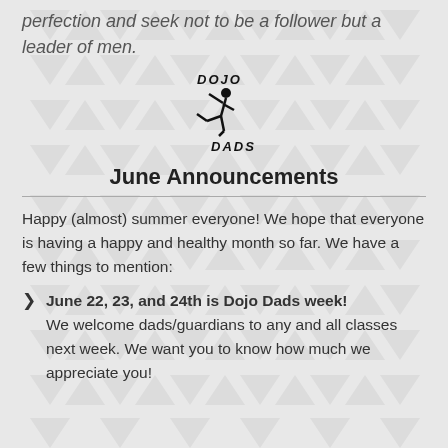perfection and seek not to be a follower but a leader of men.
[Figure (logo): Dojo Dads logo: silhouette of a martial artist kicking, with 'DOJO' text above and 'DADS' text below]
June Announcements
Happy (almost) summer everyone! We hope that everyone is having a happy and healthy month so far. We have a few things to mention:
June 22, 23, and 24th is Dojo Dads week! We welcome dads/guardians to any and all classes next week. We want you to know how much we appreciate you!